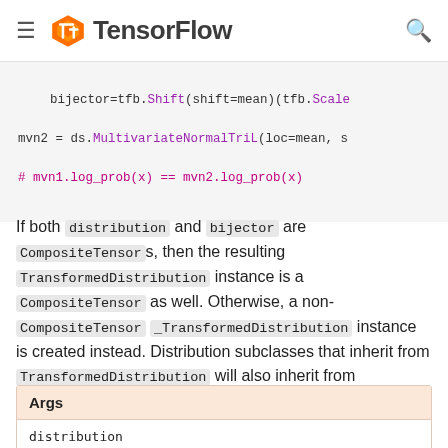TensorFlow
[Figure (screenshot): Code block showing Python code: bijector=tfb.Shift(shift=mean)(tfb.Scale, mvn2 = ds.MultivariateNormalTriL(loc=mean, s, # mvn1.log_prob(x) == mvn2.log_prob(x)]
If both distribution and bijector are CompositeTensors, then the resulting TransformedDistribution instance is a CompositeTensor as well. Otherwise, a non-CompositeTensor _TransformedDistribution instance is created instead. Distribution subclasses that inherit from TransformedDistribution will also inherit from CompositeTensor.
| Args |
| --- |
| distribution |